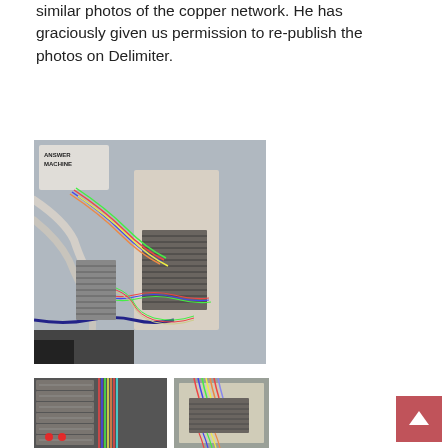similar photos of the copper network. He has graciously given us permission to re-publish the photos on Delimiter.
[Figure (photo): A tangled mess of colorful wires connected to a telephone network distribution panel mounted on a wall. A label reading 'ANSWER MACHINE' is visible at the top left.]
[Figure (photo): Close-up of a telephone network terminal block with rows of small connectors and colorful wires.]
[Figure (photo): Interior of a telecommunications cabinet showing dense colorful wiring connected to a large terminal panel.]